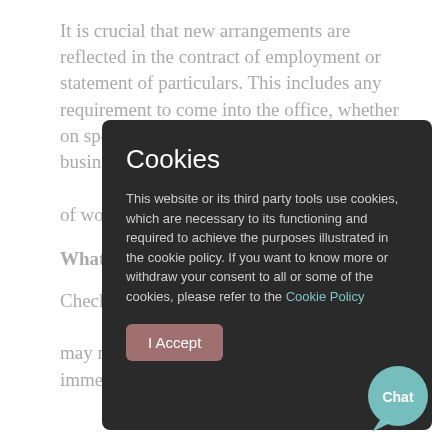It is crucial that new arrangements are reflected in the contract of employment or statement of particulars. This includes any requirement to come into the office, whether on specified days or as required by the business. Not only are you legally requi... updated wit... of work, but... arrangemen...
What if emp...
Check the em... you to make... may not give... changes immediately. We can advise you on...
[Figure (screenshot): Cookie consent modal dialog with dark background showing title 'Cookies', body text about cookie policy, a link to 'Cookie Policy', and an 'I Accept' button]